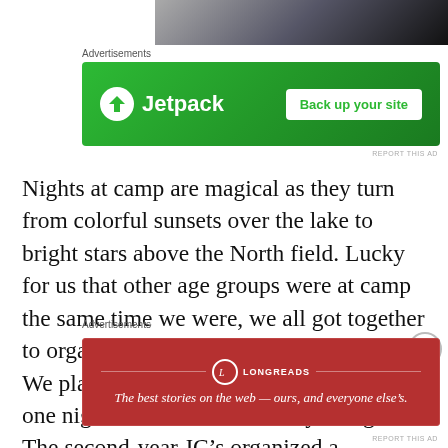[Figure (photo): Partial photo at top of page, dark tones, appears to be a lake or outdoor scene]
Advertisements
[Figure (screenshot): Jetpack advertisement banner with green background. Jetpack logo on left, 'Back up your site' button on right.]
REPORT THIS AD
Nights at camp are magical as they turn from colorful sunsets over the lake to bright stars above the North field. Lucky for us that other age groups were at camp the same time we were, we all got together to organize our own “evening activities.” We played tan and white capture the flag one night which was incredibly energetic. The second-year JC’s organized a campfire where we sang, laughed and shed a few happy tears. We had a lipsync where my cabin performed a
Advertisements
[Figure (screenshot): Longreads advertisement banner with dark red background. Longreads logo centered, tagline: The best stories on the web — ours, and everyone else's.]
REPORT THIS AD